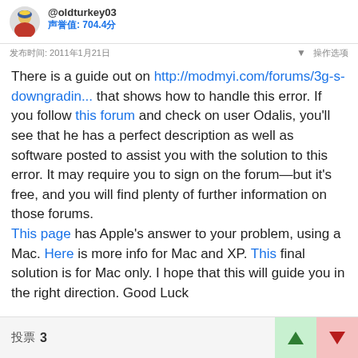@oldturkey03
声誉值: 704.4分
发布时间: 2011年1月21日
There is a guide out on http://modmyi.com/forums/3g-s-downgradin... that shows how to handle this error. If you follow this forum and check on user Odalis, you'll see that he has a perfect description as well as software posted to assist you with the solution to this error. It may require you to sign on the forum—but it's free, and you will find plenty of further information on those forums.

This page has Apple's answer to your problem, using a Mac. Here is more info for Mac and XP. This final solution is for Mac only. I hope that this will guide you in the right direction. Good Luck
投票 3